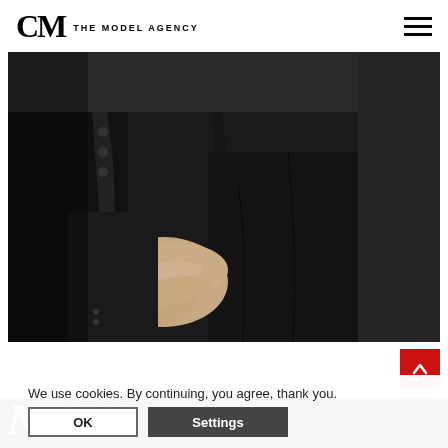CM THE MODEL AGENCY
[Figure (photo): Close-up fashion photo of a model in a black suit seated on a black leather surface, hands clasped in lap, with gold text visible at top]
[Figure (screenshot): Scroll-to-top button (red square with white up arrow) in bottom right]
NEWS
We use cookies. By continuing, you agree, thank you.
OK
Settings